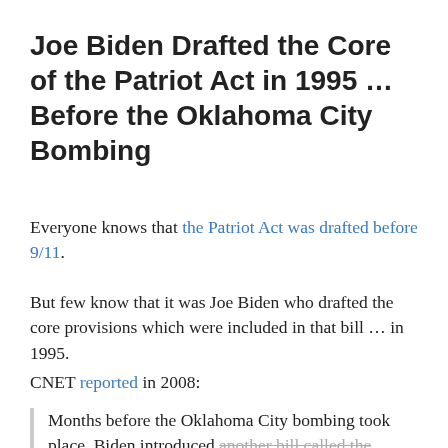Joe Biden Drafted the Core of the Patriot Act in 1995 … Before the Oklahoma City Bombing
Everyone knows that the Patriot Act was drafted before 9/11.
But few know that it was Joe Biden who drafted the core provisions which were included in that bill … in 1995.
CNET reported in 2008:
Months before the Oklahoma City bombing took place, Biden introduced another bill called the Omnibus Counterterrorism Act of 1995. It previewed the 2001 Patriot Act by